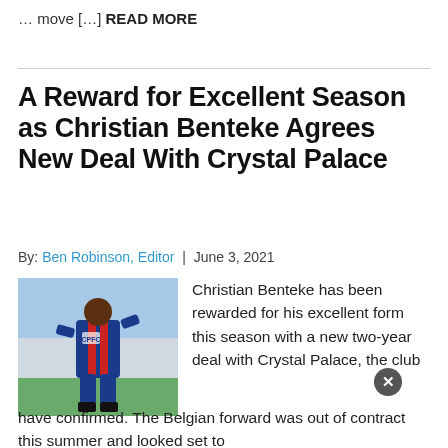... move [...] READ MORE
A Reward for Excellent Season as Christian Benteke Agrees New Deal With Crystal Palace
By: Ben Robinson, Editor | June 3, 2021
[Figure (photo): Christian Benteke in Crystal Palace kit running on pitch]
Christian Benteke has been rewarded for his excellent form this season with a new two-year deal with Crystal Palace, the club have confirmed. The Belgian forward was out of contract this summer and looked set to